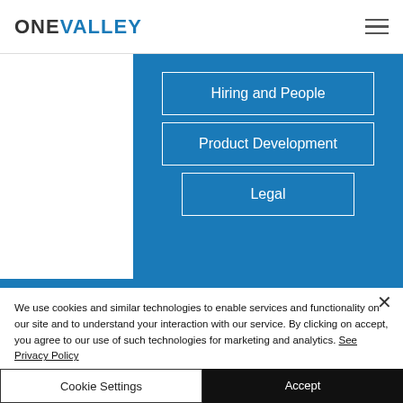ONE VALLEY
Hiring and People
Product Development
Legal
We use cookies and similar technologies to enable services and functionality on our site and to understand your interaction with our service. By clicking on accept, you agree to our use of such technologies for marketing and analytics. See Privacy Policy
Cookie Settings
Accept